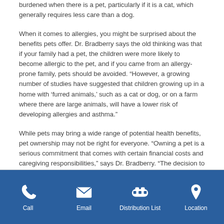burdened when there is a pet, particularly if it is a cat, which generally requires less care than a dog.
When it comes to allergies, you might be surprised about the benefits pets offer. Dr. Bradberry says the old thinking was that if your family had a pet, the children were more likely to become allergic to the pet, and if you came from an allergy-prone family, pets should be avoided. “However, a growing number of studies have suggested that children growing up in a home with ‘furred animals,’ such as a cat or dog, or on a farm where there are large animals, will have a lower risk of developing allergies and asthma.”
While pets may bring a wide range of potential health benefits, pet ownership may not be right for everyone. “Owning a pet is a serious commitment that comes with certain financial costs and caregiving responsibilities,” says Dr. Bradberry. “The decision to own a pet deserves careful consideration, but if you choose to do so, it’s good to know you may be giving your mental and physical health a boost.”
Call | Email | Distribution List | Location